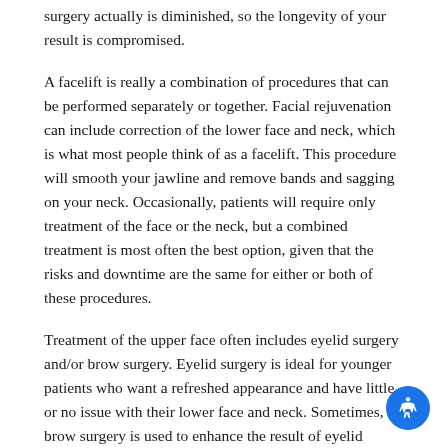surgery actually is diminished, so the longevity of your result is compromised.
A facelift is really a combination of procedures that can be performed separately or together. Facial rejuvenation can include correction of the lower face and neck, which is what most people think of as a facelift. This procedure will smooth your jawline and remove bands and sagging on your neck. Occasionally, patients will require only treatment of the face or the neck, but a combined treatment is most often the best option, given that the risks and downtime are the same for either or both of these procedures.
Treatment of the upper face often includes eyelid surgery and/or brow surgery. Eyelid surgery is ideal for younger patients who want a refreshed appearance and have little or no issue with their lower face and neck. Sometimes, brow surgery is used to enhance the result of eyelid surgery. Brow surgery is ideal for patients who think that they have an angry look even when they are smiling